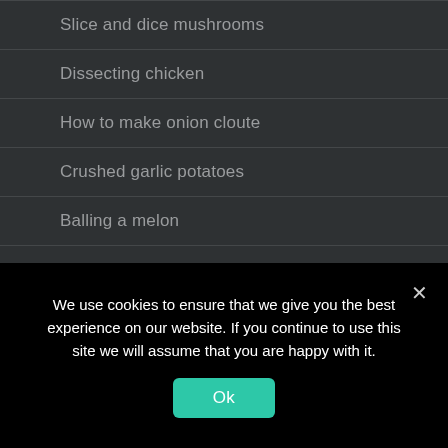Slice and dice mushrooms
Dissecting chicken
How to make onion cloute
Crushed garlic potatoes
Balling a melon
Buttered savoy cabbage
We use cookies to ensure that we give you the best experience on our website. If you continue to use this site we will assume that you are happy with it.
Ok